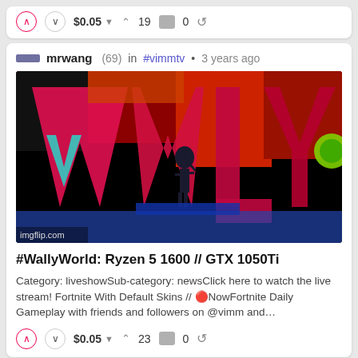$ 0.05  ▲ 19  0
mrwang (69) in #vimmtv • 3 years ago
[Figure (photo): Gaming thumbnail image with large text 'WALLY' in red/pink stylized letters on a dark background, with a silhouetted game character in the middle. imgflip.com watermark at bottom left.]
#WallyWorld: Ryzen 5 1600 // GTX 1050Ti
Category: liveshowSub-category: newsClick here to watch the live stream! Fortnite With Default Skins // 🔴NowFortnite Daily Gameplay with friends and followers on @vimm and...
$ 0.05  ▲ 23  0